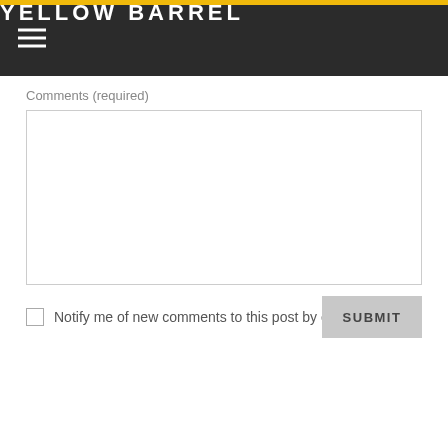YELLOW BARREL
Comments (required)
[Figure (screenshot): Empty textarea input field with a thin border for entering comments]
Notify me of new comments to this post by email
SUBMIT